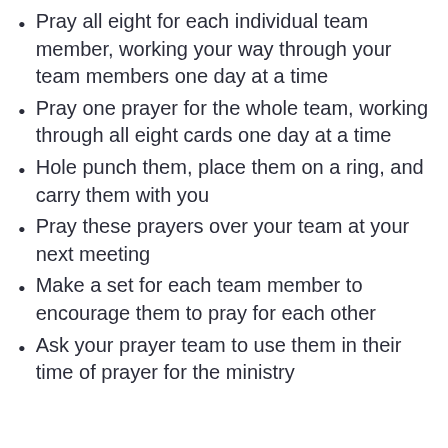Pray all eight for each individual team member, working your way through your team members one day at a time
Pray one prayer for the whole team, working through all eight cards one day at a time
Hole punch them, place them on a ring, and carry them with you
Pray these prayers over your team at your next meeting
Make a set for each team member to encourage them to pray for each other
Ask your prayer team to use them in their time of prayer for the ministry